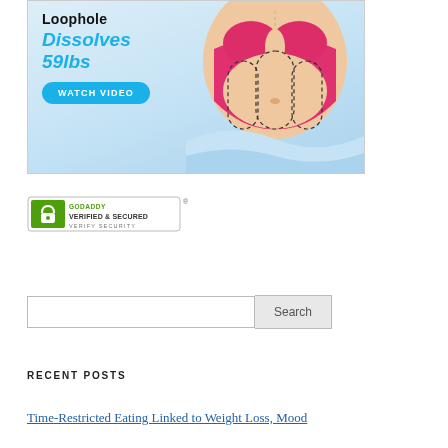[Figure (illustration): Advertisement banner showing a cartoon illustration of a woman's midsection in pink bikini bottom with dashed lines, text 'Loophole Dissolves 59lbs' and a blue 'WATCH VIDEO' button on a light blue background]
[Figure (logo): GoDaddy Verified & Secured seal with green shield/lock icon and 'VERIFY SECURITY' text, with registered trademark symbol]
Search
RECENT POSTS
Time-Restricted Eating Linked to Weight Loss, Mood